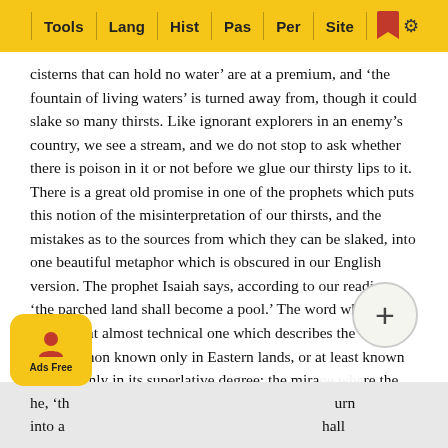Tools | Lang | Hist | Pas | Per | Site
cisterns that can hold no water' are at a premium, and 'the fountain of living waters' is turned away from, though it could slake so many thirsts. Like ignorant explorers in an enemy's country, we see a stream, and we do not stop to ask whether there is poison in it or not before we glue our thirsty lips to it. There is a great old promise in one of the prophets which puts this notion of the misinterpretation of our thirsts, and the mistakes as to the sources from which they can be slaked, into one beautiful metaphor which is obscured in our English version. The prophet Isaiah says, according to our reading, 'the parched land shall become a pool.' The word which he uses is that almost technical one which describes the phenomenon known only in Eastern lands, or at least known in them only in its superlative degree; the mirage where the dancing currents of ascending air simulate the likeness of a cool lake, with palm-trees around it. And, says he, 'th...urn into a...hall know...